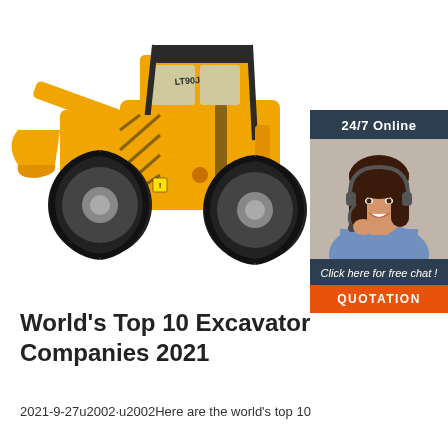[Figure (photo): Yellow wheel loader / excavator construction machine on white background]
[Figure (infographic): Dark blue sidebar widget with '24/7 Online' header, photo of smiling woman with headset, 'Click here for free chat!' text, and orange QUOTATION button]
World's Top 10 Excavator Companies 2021
2021-9-27u2002·u2002Here are the world's top 10